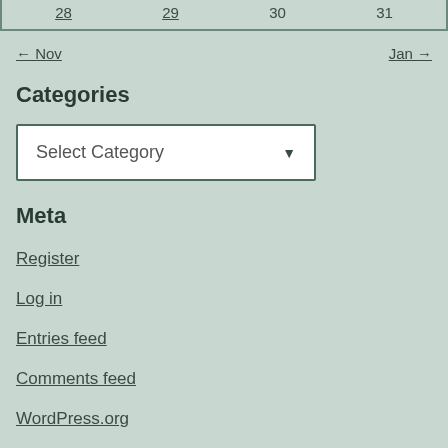| 28 | 29 | 30 | 31 |
← Nov    Jan →
Categories
[Figure (other): Select Category dropdown widget]
Meta
Register
Log in
Entries feed
Comments feed
WordPress.org